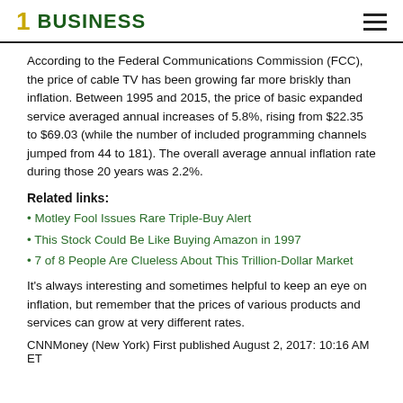1 BUSINESS
According to the Federal Communications Commission (FCC), the price of cable TV has been growing far more briskly than inflation. Between 1995 and 2015, the price of basic expanded service averaged annual increases of 5.8%, rising from $22.35 to $69.03 (while the number of included programming channels jumped from 44 to 181). The overall average annual inflation rate during those 20 years was 2.2%.
Related links:
Motley Fool Issues Rare Triple-Buy Alert
This Stock Could Be Like Buying Amazon in 1997
7 of 8 People Are Clueless About This Trillion-Dollar Market
It's always interesting and sometimes helpful to keep an eye on inflation, but remember that the prices of various products and services can grow at very different rates.
CNNMoney (New York) First published August 2, 2017: 10:16 AM ET